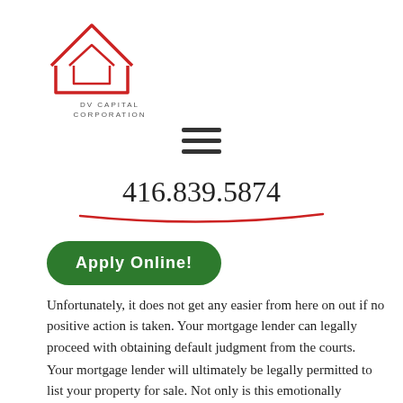[Figure (logo): DV Capital Corporation logo — red outlined house icon with text 'DV CAPITAL CORPORATION' below]
[Figure (other): Hamburger menu icon (three horizontal lines)]
416.839.5874
[Figure (other): Apply Online! green rounded button]
Unfortunately, it does not get any easier from here on out if no positive action is taken. Your mortgage lender can legally proceed with obtaining default judgment from the courts.
Your mortgage lender will ultimately be legally permitted to list your property for sale. Not only is this emotionally stressful, but it can also be quite expensive. By the time the arrears and legal fees